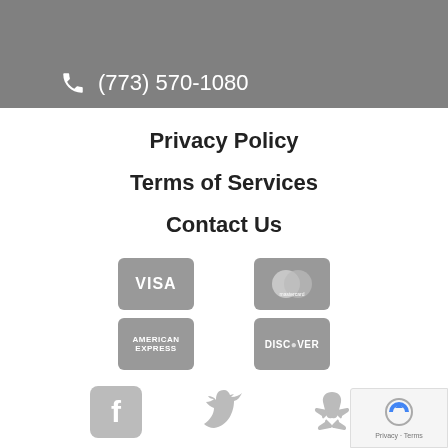(773) 570-1080
Privacy Policy
Terms of Services
Contact Us
[Figure (other): Payment method logos: Visa, Mastercard, American Express, Discover (grayscale)]
[Figure (other): Social media icons: Facebook, Twitter, Yelp (grayscale)]